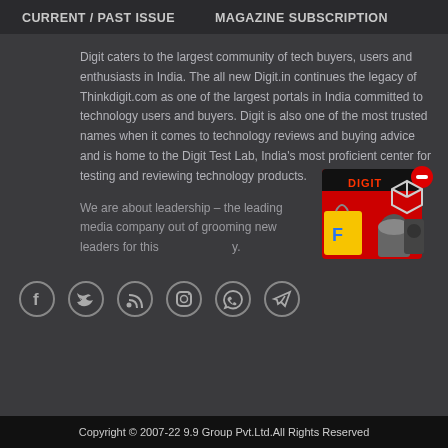CURRENT / PAST ISSUE    MAGAZINE SUBSCRIPTION
Digit caters to the largest community of tech buyers, users and enthusiasts in India. The all new Digit.in continues the legacy of Thinkdigit.com as one of the largest portals in India committed to technology users and buyers. Digit is also one of the most trusted names when it comes to technology reviews and buying advice and is home to the Digit Test Lab, India's most proficient center for testing and reviewing technology products.
We are about leadership – the leading media company out of grooming new leaders for this y.
[Figure (illustration): Advertisement image showing a shopping box with Digit logo (red box), a yellow Flipkart shopping bag, and kitchen appliances, with a red minus/notification icon and a 3D cube icon in the top right]
[Figure (illustration): Social media icons in circles: Facebook, Twitter, RSS, Instagram, WhatsApp, Telegram]
Copyright © 2007-22 9.9 Group Pvt.Ltd.All Rights Reserved